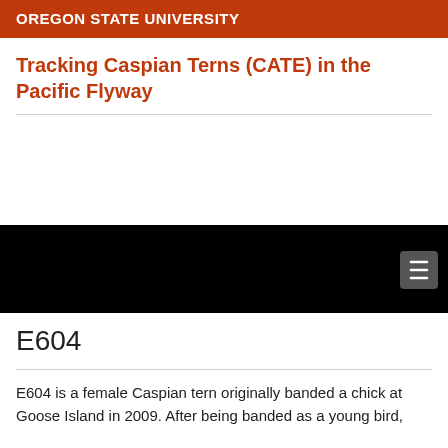OREGON STATE UNIVERSITY
Tracking Caspian Terns (CATE) in the Pacific Flyway
[Figure (map): Black map area with a hamburger menu button in the lower right corner, representing an interactive map element.]
E604
E604 is a female Caspian tern originally banded a chick at Goose Island in 2009. After being banded as a young bird, she was...